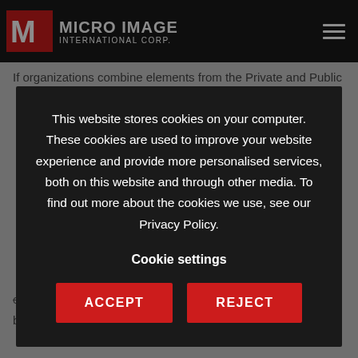and preferences.
[Figure (logo): Micro Image International Corp. logo with red M icon and white text on dark navigation bar]
If organizations combine elements from the Private and Public
This website stores cookies on your computer. These cookies are used to improve your website experience and provide more personalised services, both on this website and through other media. To find out more about the cookies we use, see our Privacy Policy.
Cookie settings
ACCEPT
REJECT
offers various cloud solutions from trusted and well-known brands.